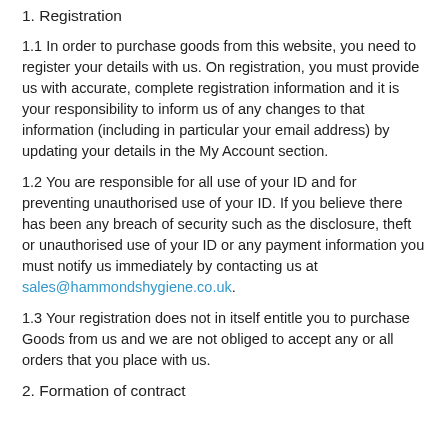1. Registration
1.1 In order to purchase goods from this website, you need to register your details with us. On registration, you must provide us with accurate, complete registration information and it is your responsibility to inform us of any changes to that information (including in particular your email address) by updating your details in the My Account section.
1.2 You are responsible for all use of your ID and for preventing unauthorised use of your ID. If you believe there has been any breach of security such as the disclosure, theft or unauthorised use of your ID or any payment information you must notify us immediately by contacting us at sales@hammondshygiene.co.uk.
1.3 Your registration does not in itself entitle you to purchase Goods from us and we are not obliged to accept any or all orders that you place with us.
2. Formation of contract